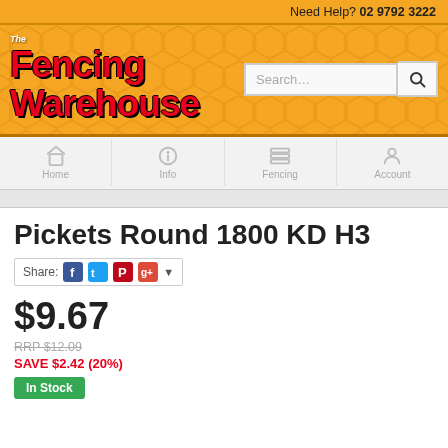Need Help? 02 9792 3222
[Figure (logo): The Fencing Warehouse logo with red text on honeycomb orange background, with search bar]
[Figure (infographic): Navigation bar with Home, Info, Fencing, and Account icons]
Pickets Round 1800 KD H3
Share: [Facebook] [Twitter] [Pinterest] [Google+]
$9.67
RRP $12.09
SAVE $2.42 (20%)
In Stock